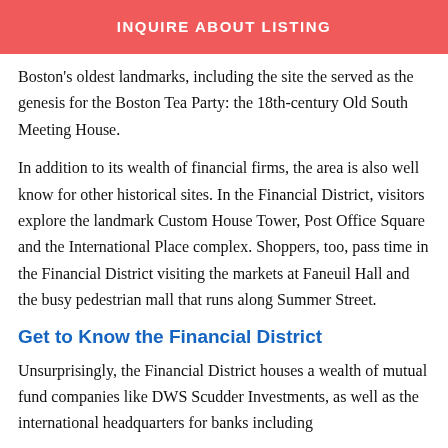[Figure (other): Red button bar with text INQUIRE ABOUT LISTING]
Boston's oldest landmarks, including the site the served as the genesis for the Boston Tea Party: the 18th-century Old South Meeting House.
In addition to its wealth of financial firms, the area is also well know for other historical sites. In the Financial District, visitors explore the landmark Custom House Tower, Post Office Square and the International Place complex. Shoppers, too, pass time in the Financial District visiting the markets at Faneuil Hall and the busy pedestrian mall that runs along Summer Street.
Get to Know the Financial District
Unsurprisingly, the Financial District houses a wealth of mutual fund companies like DWS Scudder Investments, as well as the international headquarters for banks including